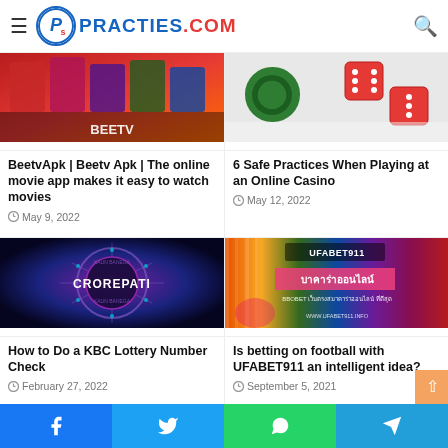PRACTIES.COM
[Figure (photo): BeetvApk movie app thumbnail - colorful movie posters collage with red tones]
BeetvApk | Beetv Apk | The online movie app makes it easy to watch movies
May 9, 2022
[Figure (photo): Online casino - green poker chip and red dice on white surface]
6 Safe Practices When Playing at an Online Casino
May 12, 2022
[Figure (photo): KBC Kaun Banega Crorepati logo glowing blue on dark purple background]
How to Do a KBC Lottery Number Check
February 27, 2022
[Figure (photo): UFABET911 colorful banner with woman and BBOBET text on rainbow background]
Is betting on football with UFABET911 an intelligent idea?
September 5, 2021
Facebook | Twitter | WhatsApp | Telegram